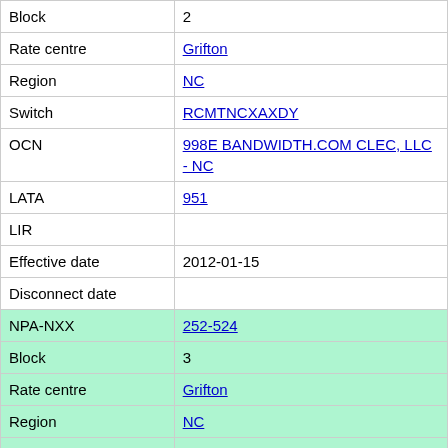| Field | Value |
| --- | --- |
| Block | 2 |
| Rate centre | Grifton |
| Region | NC |
| Switch | RCMTNCXAXDY |
| OCN | 998E BANDWIDTH.COM CLEC, LLC - NC |
| LATA | 951 |
| LIR |  |
| Effective date | 2012-01-15 |
| Disconnect date |  |
| NPA-NXX | 252-524 |
| Block | 3 |
| Rate centre | Grifton |
| Region | NC |
| Switch | GFTNNCXARP0 |
| OCN | 0470 CAROLINA TEL AND TEL CO., LLC DBA CENTURYLINK |
| LATA | 951 |
| LIR |  |
| Effective date |  |
| Disconnect date |  |
| NPA-NXX | 252-524 |